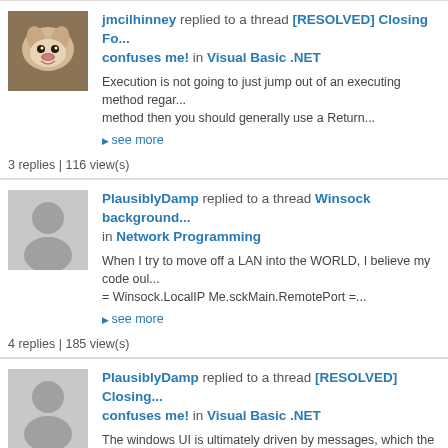jmcilhinney replied to a thread [RESOLVED] Closing Fo... confuses me! in Visual Basic .NET
Execution is not going to just jump out of an executing method regar... method then you should generally use a Return...
▶ see more
3 replies | 116 view(s)
PlausiblyDamp replied to a thread Winsock background... in Network Programming
When I try to move off a LAN into the WORLD, I believe my code oul... = Winsock.LocalIP Me.sckMain.RemotePort =...
▶ see more
4 replies | 185 view(s)
PlausiblyDamp replied to a thread [RESOLVED] Closing... confuses me! in Visual Basic .NET
The windows UI is ultimately driven by messages, which the underlyii... When you call .Close() on a form you are really...
▶ see more
3 replies | 116 view(s)